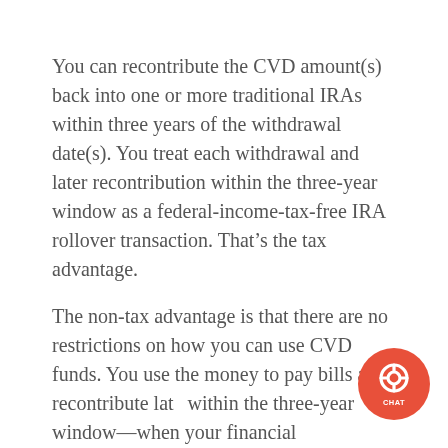You can recontribute the CVD amount(s) back into one or more traditional IRAs within three years of the withdrawal date(s). You treat each withdrawal and later recontribution within the three-year window as a federal-income-tax-free IRA rollover transaction. That’s the tax advantage.
The non-tax advantage is that there are no restrictions on how you can use CVD funds. You use the money to pay bills and recontribute later within the three-year window—when your financial